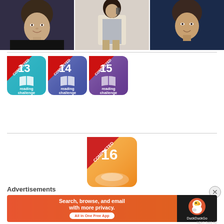[Figure (photo): Three selfie/portrait photos arranged in a horizontal strip: left is a close-up selfie of a woman with dark hair; middle is a full-body mirror selfie of a woman in a beige blazer; right is a close-up selfie of a woman in dark clothing.]
[Figure (infographic): Three Goodreads Reading Challenge 'Completed' badges for years 2013 (teal), 2014 (blue/purple), and 2015 (purple), each showing a book icon and 'reading challenge' text with a red 'COMPLETED' ribbon banner.]
[Figure (infographic): Goodreads Reading Challenge 'Completed' badge for 2016 (orange), partially visible, showing a 'COMPLETED' ribbon and '2016' text.]
Advertisements
[Figure (screenshot): DuckDuckGo advertisement banner: left orange section reads 'Search, browse, and email with more privacy. All in One Free App'; right dark section shows DuckDuckGo logo (duck icon) and 'DuckDuckGo' text.]